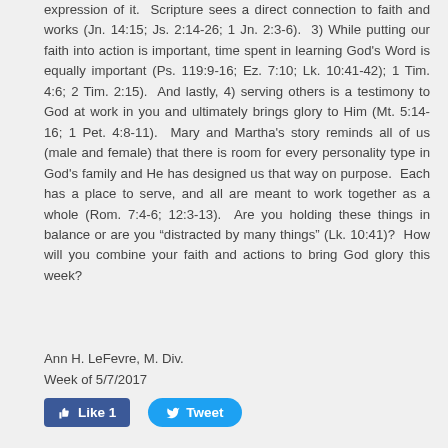expression of it.  Scripture sees a direct connection to faith and works (Jn. 14:15; Js. 2:14-26; 1 Jn. 2:3-6).  3) While putting our faith into action is important, time spent in learning God's Word is equally important (Ps. 119:9-16; Ez. 7:10; Lk. 10:41-42); 1 Tim. 4:6; 2 Tim. 2:15).  And lastly, 4) serving others is a testimony to God at work in you and ultimately brings glory to Him (Mt. 5:14-16; 1 Pet. 4:8-11).  Mary and Martha's story reminds all of us (male and female) that there is room for every personality type in God's family and He has designed us that way on purpose.  Each has a place to serve, and all are meant to work together as a whole (Rom. 7:4-6; 12:3-13).  Are you holding these things in balance or are you “distracted by many things” (Lk. 10:41)?  How will you combine your faith and actions to bring God glory this week?
Ann H. LeFevre, M. Div.
Week of 5/7/2017
[Figure (other): Like button (Facebook style, blue rounded rectangle) showing 'Like 1' and Tweet button (Twitter style, blue pill-shaped) showing 'Tweet']